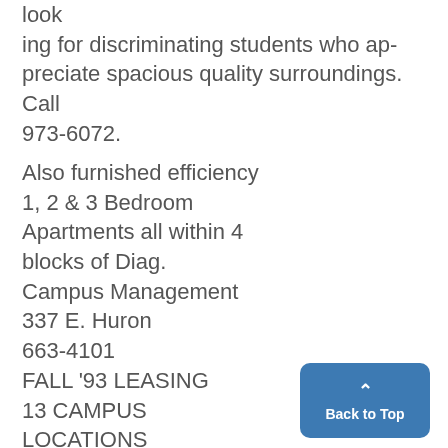look ing for discriminating students who appreciate spacious quality surroundings. Call 973-6072.
Also furnished efficiency 1, 2 & 3 Bedroom Apartments all within 4 blocks of Diag. Campus Management 337 E. Huron 663-4101 FALL '93 LEASING 13 CAMPUS LOCATIONS